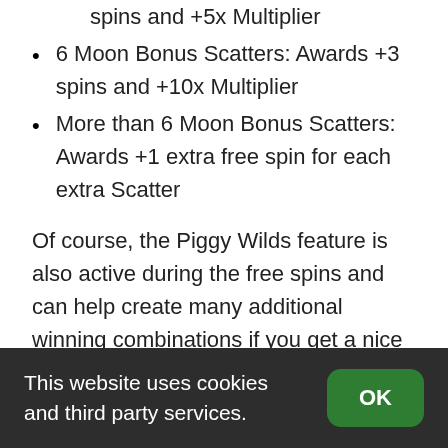spins and +5x Multiplier
6 Moon Bonus Scatters: Awards +3 spins and +10x Multiplier
More than 6 Moon Bonus Scatters: Awards +1 extra free spin for each extra Scatter
Of course, the Piggy Wilds feature is also active during the free spins and can help create many additional winning combinations if you get a nice run of tumbling wins.
Big Bad Wolf Megaways – Game
This website uses cookies and third party services.